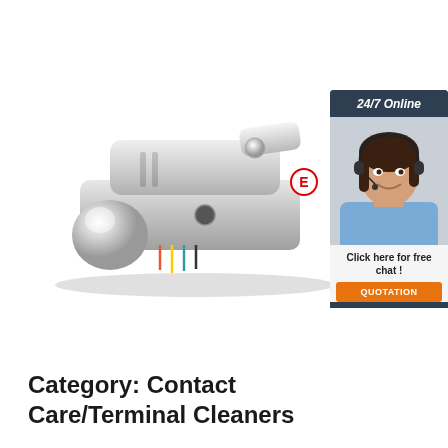[Figure (photo): Chrome trailer hitch coupler/ball mount hardware product photo with size badges showing 50x40mm, 50x50mm, 50x60mm]
[Figure (photo): Sidebar advertisement showing a woman with headset smiling, with '24/7 Online' header, 'Click here for free chat!' text, and an orange 'QUOTATION' button]
Category: Contact Care/Terminal Cleaners